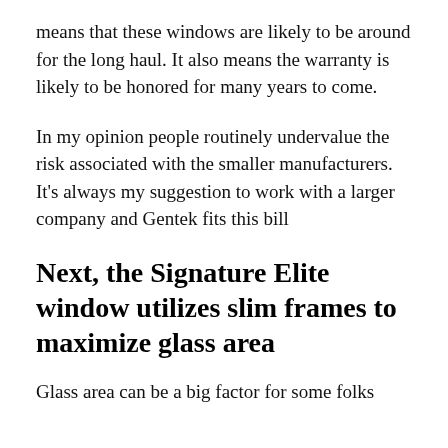means that these windows are likely to be around for the long haul. It also means the warranty is likely to be honored for many years to come.
In my opinion people routinely undervalue the risk associated with the smaller manufacturers. It’s always my suggestion to work with a larger company and Gentek fits this bill
Next, the Signature Elite window utilizes slim frames to maximize glass area
Glass area can be a big factor for some folks